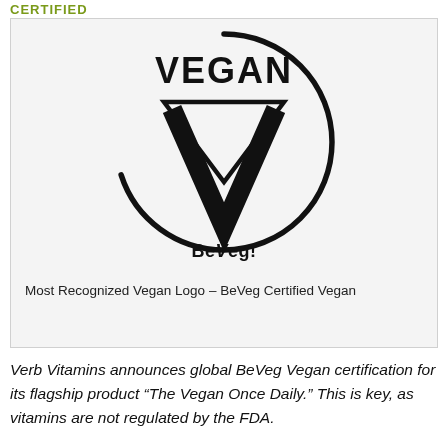CERTIFIED
[Figure (logo): BeVeg Vegan Certification logo: a circle outline with the word VEGAN at the top, a downward-pointing triangle outline, a large bold V shape inside, and 'BeVeg!' text at the bottom center.]
Most Recognized Vegan Logo – BeVeg Certified Vegan
Verb Vitamins announces global BeVeg Vegan certification for its flagship product “The Vegan Once Daily.” This is key, as vitamins are not regulated by the FDA.